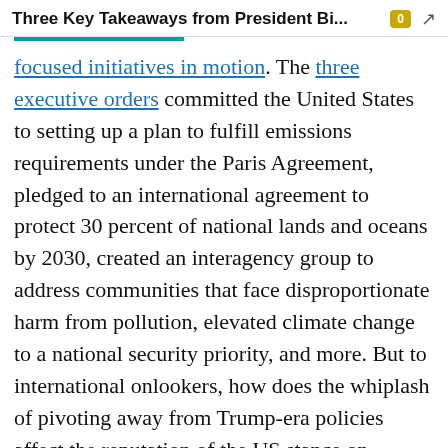Three Key Takeaways from President Bi...
focused initiatives in motion. The three executive orders committed the United States to setting up a plan to fulfill emissions requirements under the Paris Agreement, pledged to an international agreement to protect 30 percent of national lands and oceans by 2030, created an interagency group to address communities that face disproportionate harm from pollution, elevated climate change to a national security priority, and more. But to international onlookers, how does the whiplash of pivoting away from Trump-era policies affect the reputation of the US stance on climate change policies? Selin